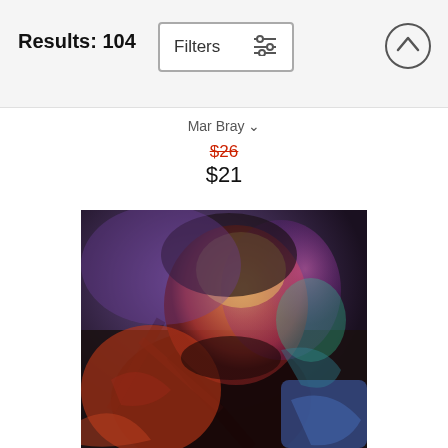Results: 104
Filters
Mar Bray
$26
$21
[Figure (illustration): Colorful expressionist digital painting of an older man's face and upper body, with vivid purples, reds, oranges, and blues in a dark abstract background. The figure appears to be looking downward.]